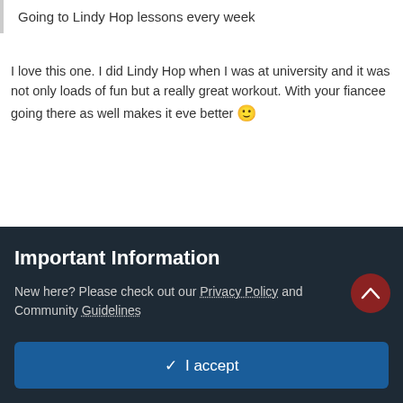Going to Lindy Hop lessons every week
I love this one.  I did Lindy Hop when I was at university and it was not only loads of fun but a really great workout.   With your fiancee going there as well makes it eve better 🙂
+ Quote   ♥ 1
Bob the Bardbarian
Posted January 5, 2020
Important Information
New here? Please check out our Privacy Policy and Community Guidelines
✓  I accept